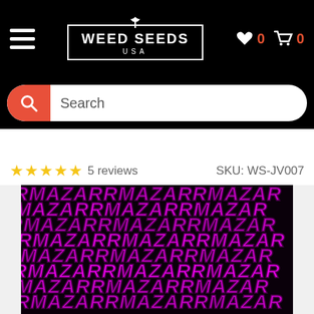WEED SEEDS USA — header with hamburger menu, logo, wishlist (0), cart (0)
Search
★★★★★ 5 reviews   SKU: WS-JV007
[Figure (photo): Repeating tiled MAZAR text pattern in bright magenta/pink on black background, italicized bold letters filling the entire image area]